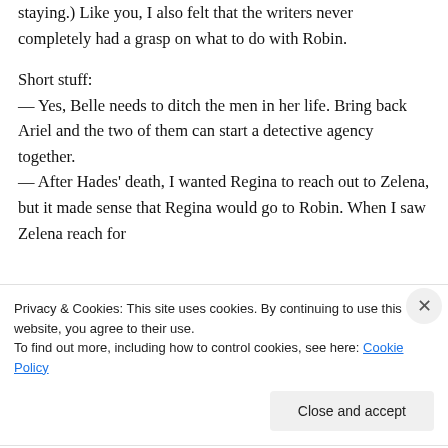staying.) Like you, I also felt that the writers never completely had a grasp on what to do with Robin.
Short stuff:
— Yes, Belle needs to ditch the men in her life. Bring back Ariel and the two of them can start a detective agency together.
— After Hades' death, I wanted Regina to reach out to Zelena, but it made sense that Regina would go to Robin. When I saw Zelena reach for Regina from a fetal position, I THAT was what the
Privacy & Cookies: This site uses cookies. By continuing to use this website, you agree to their use.
To find out more, including how to control cookies, see here: Cookie Policy